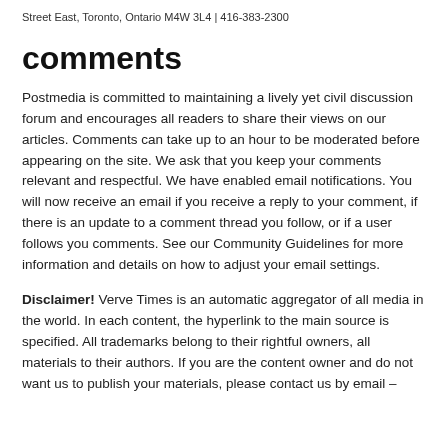Street East, Toronto, Ontario M4W 3L4 | 416-383-2300
comments
Postmedia is committed to maintaining a lively yet civil discussion forum and encourages all readers to share their views on our articles. Comments can take up to an hour to be moderated before appearing on the site. We ask that you keep your comments relevant and respectful. We have enabled email notifications. You will now receive an email if you receive a reply to your comment, if there is an update to a comment thread you follow, or if a user follows you comments. See our Community Guidelines for more information and details on how to adjust your email settings.
Disclaimer! Verve Times is an automatic aggregator of all media in the world. In each content, the hyperlink to the main source is specified. All trademarks belong to their rightful owners, all materials to their authors. If you are the content owner and do not want us to publish your materials, please contact us by email –